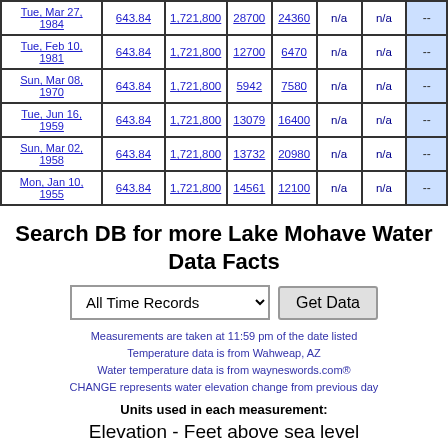| Date | Elevation | Content | Inflow | Outflow | Temp | Water Temp | Change |
| --- | --- | --- | --- | --- | --- | --- | --- |
| Tue, Mar 27, 1984 | 643.84 | 1,721,800 | 28700 | 24360 | n/a | n/a | -- |
| Tue, Feb 10, 1981 | 643.84 | 1,721,800 | 12700 | 6470 | n/a | n/a | -- |
| Sun, Mar 08, 1970 | 643.84 | 1,721,800 | 5942 | 7580 | n/a | n/a | -- |
| Tue, Jun 16, 1959 | 643.84 | 1,721,800 | 13079 | 16400 | n/a | n/a | -- |
| Sun, Mar 02, 1958 | 643.84 | 1,721,800 | 13732 | 20980 | n/a | n/a | -- |
| Mon, Jan 10, 1955 | 643.84 | 1,721,800 | 14561 | 12100 | n/a | n/a | -- |
Search DB for more Lake Mohave Water Data Facts
All Time Records — Get Data
Measurements are taken at 11:59 pm of the date listed
Temperature data is from Wahweap, AZ
Water temperature data is from wayneswords.com®
CHANGE represents water elevation change from previous day
Units used in each measurement:
Elevation - Feet above sea level
Change - Feet difference over previous measurement
Content - Acre Feet